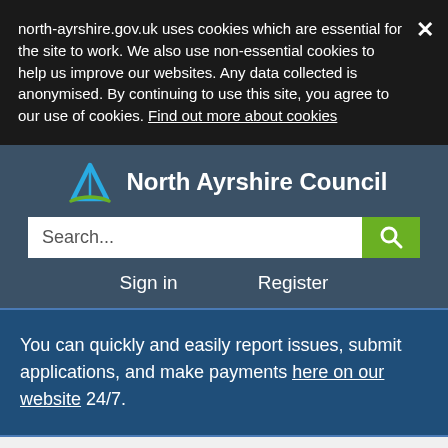north-ayrshire.gov.uk uses cookies which are essential for the site to work. We also use non-essential cookies to help us improve our websites. Any data collected is anonymised. By continuing to use this site, you agree to our use of cookies. Find out more about cookies
[Figure (logo): North Ayrshire Council logo with blue arrow/mountain graphic and green swoosh]
North Ayrshire Council
Search...
Sign in   Register
You can quickly and easily report issues, submit applications, and make payments here on our website 24/7.
Home ▶ Privacy Policy